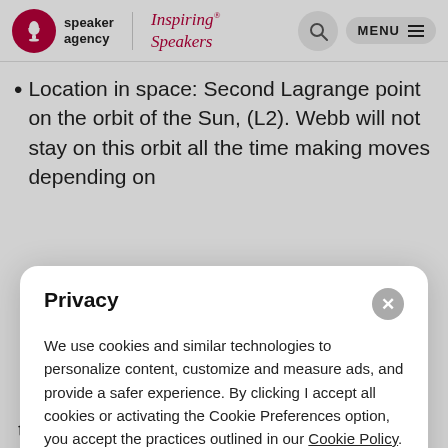speaker agency | Inspiring® Speakers
Location in space: Second Lagrange point on the orbit of the Sun, (L2). Webb will not stay on this orbit all the time making moves depending on
Privacy
We use cookies and similar technologies to personalize content, customize and measure ads, and provide a safer experience. By clicking I accept all cookies or activating the Cookie Preferences option, you accept the practices outlined in our Cookie Policy. To change your preferences, please update your Cookie Preferences selections.
I Accept All Cookies